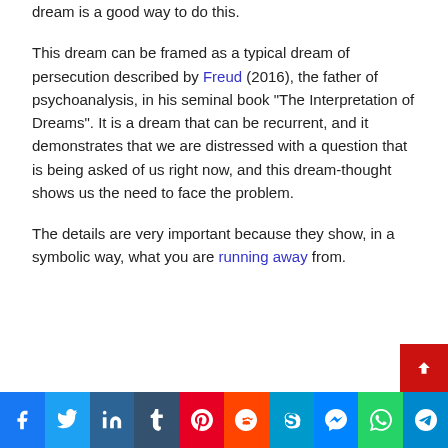dream is a good way to do this.
This dream can be framed as a typical dream of persecution described by Freud (2016), the father of psychoanalysis, in his seminal book “The Interpretation of Dreams”. It is a dream that can be recurrent, and it demonstrates that we are distressed with a question that is being asked of us right now, and this dream-thought shows us the need to face the problem.
The details are very important because they show, in a symbolic way, what you are running away from.
Social share bar: Facebook, Twitter, LinkedIn, Tumblr, Pinterest, Reddit, Skype, Messenger, WhatsApp, Telegram